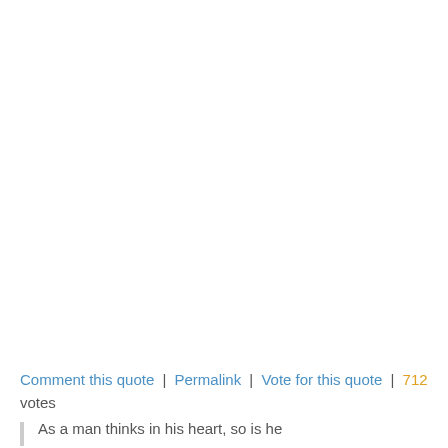Comment this quote | Permalink | Vote for this quote | 712 votes
As a man thinks in his heart, so is he